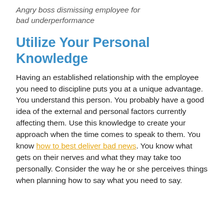Angry boss dismissing employee for bad underperformance
Utilize Your Personal Knowledge
Having an established relationship with the employee you need to discipline puts you at a unique advantage. You understand this person. You probably have a good idea of the external and personal factors currently affecting them. Use this knowledge to create your approach when the time comes to speak to them. You know how to best deliver bad news. You know what gets on their nerves and what they may take too personally. Consider the way he or she perceives things when planning how to say what you need to say.